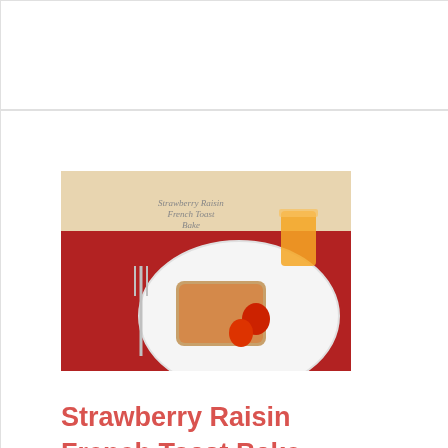Vin…
[Figure (photo): Strawberry Raisin French Toast Bake - a plate with French toast and strawberry garnish, orange juice in background]
Strawberry Raisin French Toast Bake
[Figure (photo): Balsamic Strawberry Jam - mason jars filled with red strawberry jam]
Balsamic Strawberry Jam
[Figure (photo): Partial photo of a strawberry food item (cropped at right edge)]
Stra… Foo…